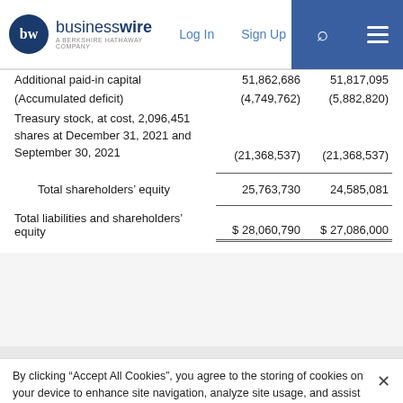businesswire - A BERKSHIRE HATHAWAY COMPANY | Log In | Sign Up
|  | Dec 31 2021 | Sep 30 2021 |
| --- | --- | --- |
| Additional paid-in capital | 51,862,686 | 51,817,095 |
| (Accumulated deficit) | (4,749,762) | (5,882,820) |
| Treasury stock, at cost, 2,096,451 shares at December 31, 2021 and September 30, 2021 | (21,368,537) | (21,368,537) |
| Total shareholders' equity | 25,763,730 | 24,585,081 |
| Total liabilities and shareholders' equity | $ 28,060,790 | $ 27,086,000 |
By clicking “Accept All Cookies”, you agree to the storing of cookies on your device to enhance site navigation, analyze site usage, and assist in our marketing efforts. Cookie Policy
Cookies Settings | Accept All Cookies